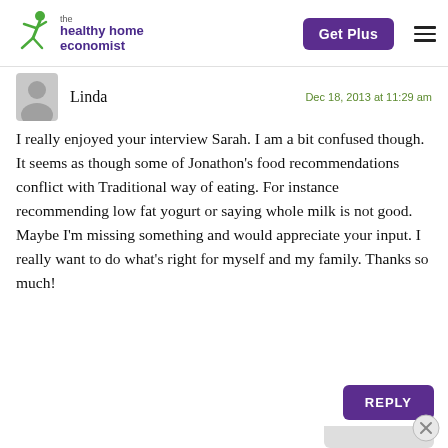[Figure (logo): The Healthy Home Economist logo with green jumping figure and purple text]
Dec 18, 2013 at 11:29 am
Linda
I really enjoyed your interview Sarah. I am a bit confused though. It seems as though some of Jonathon’s food recommendations conflict with Traditional way of eating. For instance recommending low fat yogurt or saying whole milk is not good. Maybe I’m missing something and would appreciate your input. I really want to do what’s right for myself and my family. Thanks so much!